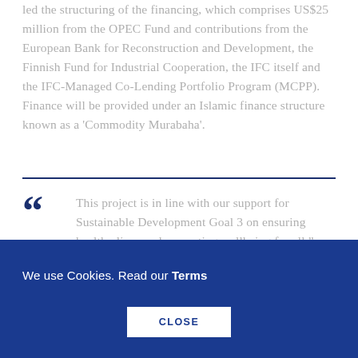led the structuring of the financing, which comprises US$25 million from the OPEC Fund and contributions from the European Bank for Reconstruction and Development, the Finnish Fund for Industrial Cooperation, the IFC itself and the IFC-Managed Co-Lending Portfolio Program (MCPP). Finance will be provided under an Islamic finance structure known as a 'Commodity Murabaha'.
This project is in line with our support for Sustainable Development Goal 3 on ensuring healthy lives and promoting wellbeing for all," said OPEC Fund Assistant Director-General Tareq
We use Cookies. Read our Terms
CLOSE